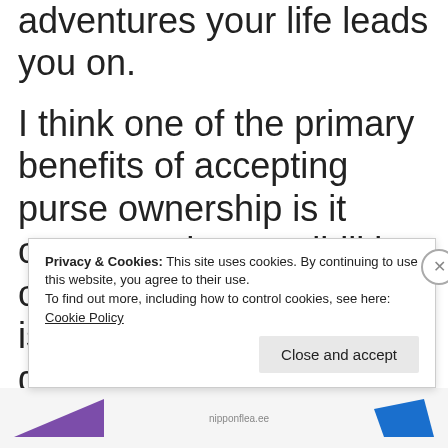adventures your life leads you on.
I think one of the primary benefits of accepting purse ownership is it opens up the possibilities of shopping for purses. It is a fun activity and can give you something to do without actually spending any money. After all it's
Privacy & Cookies: This site uses cookies. By continuing to use this website, you agree to their use.
To find out more, including how to control cookies, see here: Cookie Policy
Close and accept